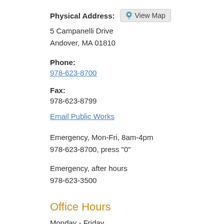Physical Address: [View Map button]
5 Campanelli Drive
Andover, MA 01810
Phone:
978-623-8700
Fax:
978-623-8799
Email Public Works
Emergency, Mon-Fri, 8am-4pm
978-623-8700, press "0"
Emergency, after hours
978-623-3500
Office Hours
Monday - Friday
8:00 a.m. - 4:00 p.m.